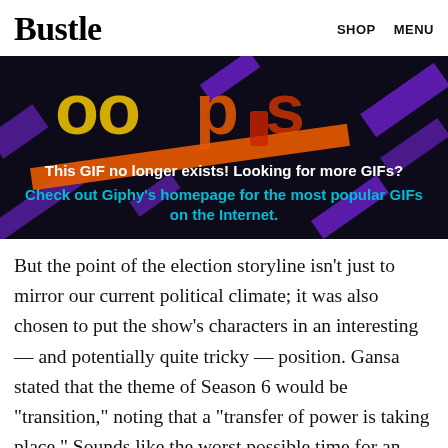Bustle   SHOP   MENU
[Figure (illustration): Dark background with colorful 'oops' text and decorative shapes — a Giphy error placeholder image. Text overlay: 'This GIF no longer exists! Looking for more GIFs? Check out Giphy's homepage for the most popular GIFs on the Internet.']
But the point of the election storyline isn't just to mirror our current political climate; it was also chosen to put the show's characters in an interesting — and potentially quite tricky — position. Gansa stated that the theme of Season 6 would be "transition," noting that a "transfer of power is taking place." Sounds like the worst possible time for an imminent threat to